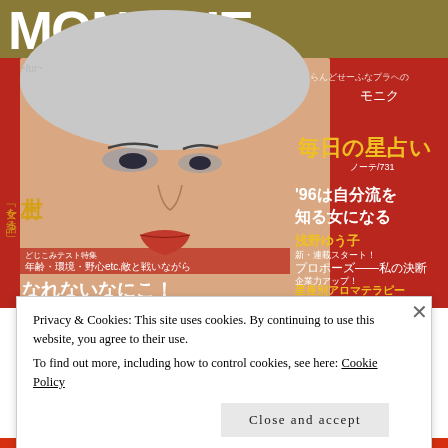[Figure (photo): Japanese fashion magazine cover 'MONIQUE' showing a close-up portrait of a woman with short silver/white fur hat, dramatic eye makeup, and red lips. Red background with Japanese text describing horoscopes and self-improvement articles for 1996. Text includes '96は自分流を知る女になる', 浅野ゆう子, プロポーズ——私の決断, 星座別アロマテラピー, あなたのコマダム度チェック!, 年齢・環境・野心etc.敵と戦いながら and other Japanese text. Left side shows vertical Japanese text 村上 and 女を語る.]
Privacy & Cookies: This site uses cookies. By continuing to use this website, you agree to their use.
To find out more, including how to control cookies, see here: Cookie Policy
Close and accept